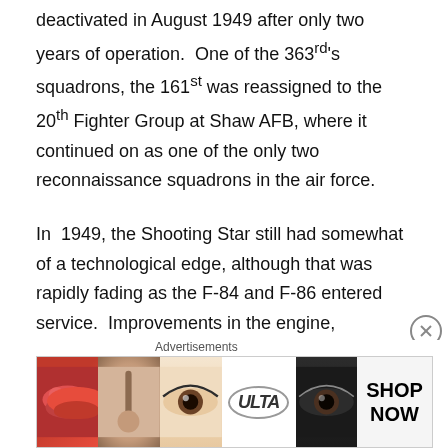deactivated in August 1949 after only two years of operation. One of the 363rd's squadrons, the 161st was reassigned to the 20th Fighter Group at Shaw AFB, where it continued on as one of the only two reconnaissance squadrons in the air force.
In 1949, the Shooting Star still had somewhat of a technological edge, although that was rapidly fading as the F-84 and F-86 entered service. Improvements in the engine, weapons, and avionics allowed it to stay competitive as an air superiority fighter, despite the relative maturity of the design. The F-80 was not the fastest, nor the highest climbing, but it was good at what it did, both as an early interceptor and later as a fighter
[Figure (other): Ulta Beauty advertisement banner with makeup imagery including lips, brush, eyes and shop now call to action]